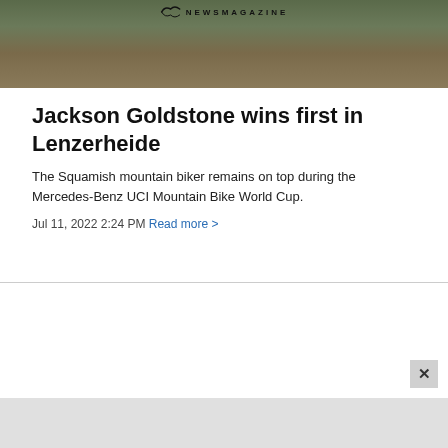[Figure (photo): Outdoor mountain biking scene with dark forest and equipment in background, with a news magazine logo overlay at the top]
Jackson Goldstone wins first in Lenzerheide
The Squamish mountain biker remains on top during the Mercedes-Benz UCI Mountain Bike World Cup.
Jul 11, 2022 2:24 PM Read more >